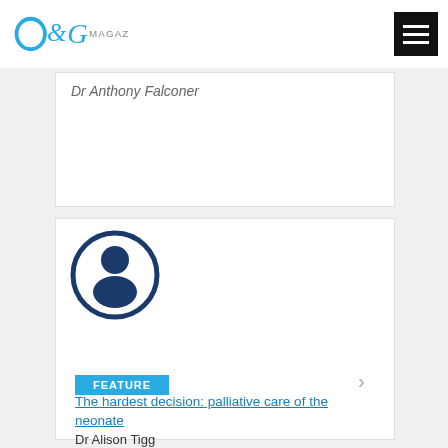O&G MAGAZINE
Dr Anthony Falconer
[Figure (illustration): Generic user avatar icon: dark blue silhouette of a person inside a dark blue circle outline, on white background]
FEATURE
The hardest decision: palliative care of the neonate
Dr Alison Tigg